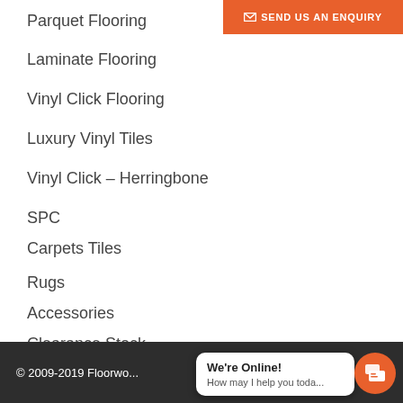[Figure (other): Orange button with envelope icon: SEND US AN ENQUIRY]
Parquet Flooring
Laminate Flooring
Vinyl Click Flooring
Luxury Vinyl Tiles
Vinyl Click – Herringbone
SPC
Carpets Tiles
Rugs
Accessories
Clearance Stock
[Figure (logo): Row of certification and payment logos: FSC, ISO, PEFC, and others, plus VISA, MasterCard, American Express]
© 2009-2019 Floorwo...
[Figure (other): Chat widget: We're Online! How may I help you toda...]